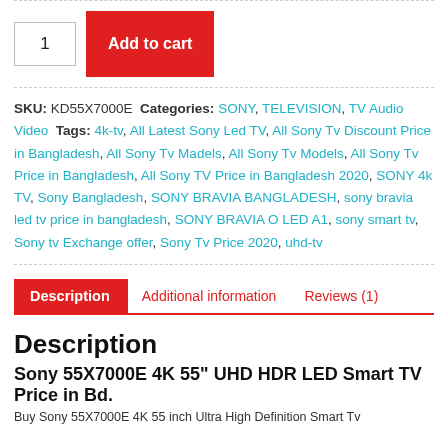[Figure (other): Add to cart UI: quantity input box showing '1' and red 'Add to cart' button]
SKU: KD55X7000E Categories: SONY, TELEVISION, TV Audio Video Tags: 4k-tv, All Latest Sony Led TV, All Sony Tv Discount Price in Bangladesh, All Sony Tv Madels, All Sony Tv Models, All Sony Tv Price in Bangladesh, All Sony TV Price in Bangladesh 2020, SONY 4k TV, Sony Bangladesh, SONY BRAVIA BANGLADESH, sony bravia led tv price in bangladesh, SONY BRAVIA O LED A1, sony smart tv, Sony tv Exchange offer, Sony Tv Price 2020, uhd-tv
Description
Additional information
Reviews (1)
Description
Sony 55X7000E 4K 55" UHD HDR LED Smart TV Price in Bd.
Buy Sony 55X7000E 4K 55 inch Ultra High Definition Smart Tv